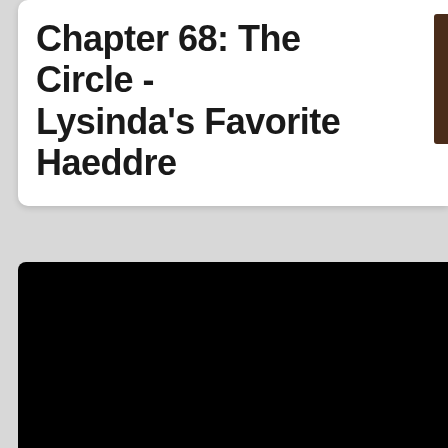Chapter 68: The Circle - Lysinda's Favorite Haeddre
[Figure (other): Black rectangular panel occupying the lower portion of the page, likely a video player or image area]